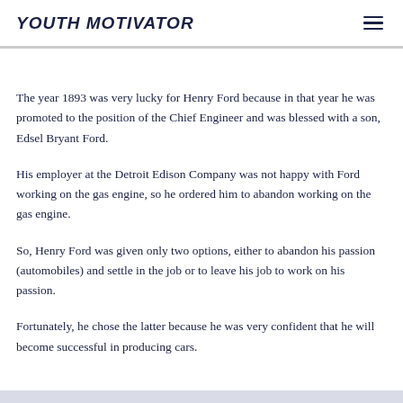YOUTH MOTIVATOR
The year 1893 was very lucky for Henry Ford because in that year he was promoted to the position of the Chief Engineer and was blessed with a son, Edsel Bryant Ford.
His employer at the Detroit Edison Company was not happy with Ford working on the gas engine, so he ordered him to abandon working on the gas engine.
So, Henry Ford was given only two options, either to abandon his passion (automobiles) and settle in the job or to leave his job to work on his passion.
Fortunately, he chose the latter because he was very confident that he will become successful in producing cars.